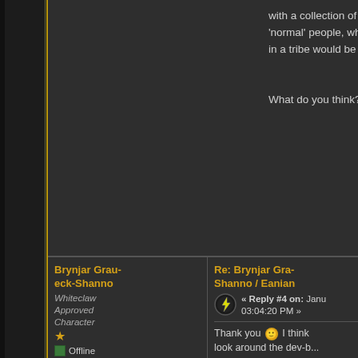with a collection of stories 'normal' people, who in a tribe would be an...

What do you think?
Brynjar Graueck-Shanno
Whiteclaw Approved Character
Offline
Gender: ♀
Posts: 16
[Figure (illustration): User avatar showing an anime-style character in red and white]
Human, Eanian
Re: Brynjar Graueck-Shanno / Eanian
« Reply #4 on: January... 03:04:20 PM »
Thank you 🙂 I think look around the dev-b... especially if it means around the Ice-Tribes... They are so loosely-d... is right now, that it co... of fun to help breathe life into them (especia... why the other tribes s... such a hatred for mag... their so united in thei... the Himinko [which is... magic related]).